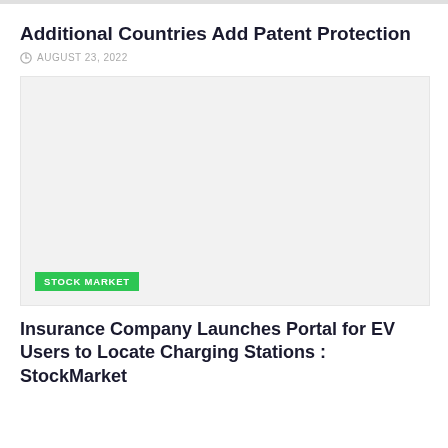Additional Countries Add Patent Protection
AUGUST 23, 2022
[Figure (photo): Gray placeholder image with a green 'STOCK MARKET' badge in the bottom left corner]
Insurance Company Launches Portal for EV Users to Locate Charging Stations : StockMarket